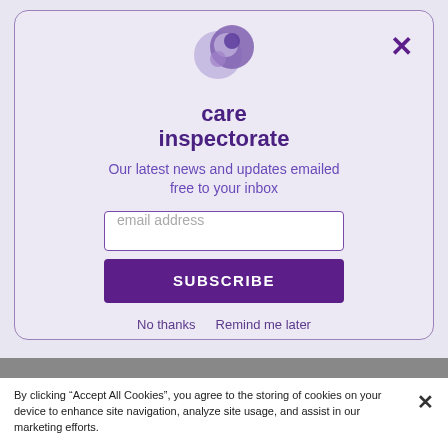[Figure (logo): Care Inspectorate logo — two interlocking purple/lavender circles forming a swirl, above the text 'care inspectorate' in bold purple]
care
inspectorate
Our latest news and updates emailed free to your inbox
email address
SUBSCRIBE
No thanks   Remind me later
By clicking “Accept All Cookies”, you agree to the storing of cookies on your device to enhance site navigation, analyze site usage, and assist in our marketing efforts.